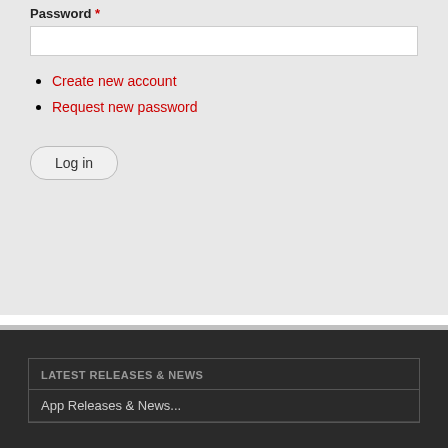Password *
Create new account
Request new password
Log in
LATEST RELEASES & NEWS
App Releases & News...